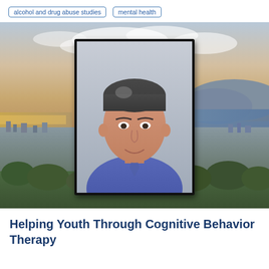alcohol and drug abuse studies
mental health
[Figure (photo): Professional headshot of a middle-aged man with dark grey hair, wearing a blue dress shirt and blue tie, posed against a light grey studio background. The portrait is framed with a black border and overlaid on an aerial cityscape photo showing a coastal city with water, hills, and urban neighborhoods under a partly cloudy sky.]
Helping Youth Through Cognitive Behavior Therapy